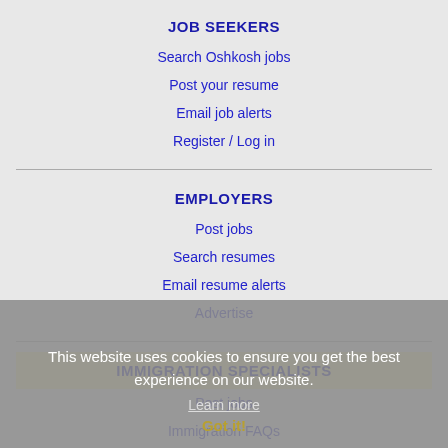JOB SEEKERS
Search Oshkosh jobs
Post your resume
Email job alerts
Register / Log in
EMPLOYERS
Post jobs
Search resumes
Email resume alerts
Advertise
IMMIGRATION SPECIALISTS
Post jobs
Immigration FAQs
Learn more
This website uses cookies to ensure you get the best experience on our website.
Learn more
Got it!